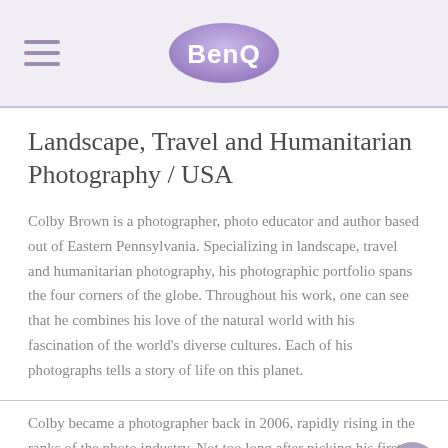BenQ
Landscape, Travel and Humanitarian Photography / USA
Colby Brown is a photographer, photo educator and author based out of Eastern Pennsylvania. Specializing in landscape, travel and humanitarian photography, his photographic portfolio spans the four corners of the globe. Throughout his work, one can see that he combines his love of the natural world with his fascination of the world's diverse cultures. Each of his photographs tells a story of life on this planet.
Colby became a photographer back in 2006, rapidly rising in the ranks of the photo industry. Not too long after picking his first DSLR, Colby was leading workshops for National